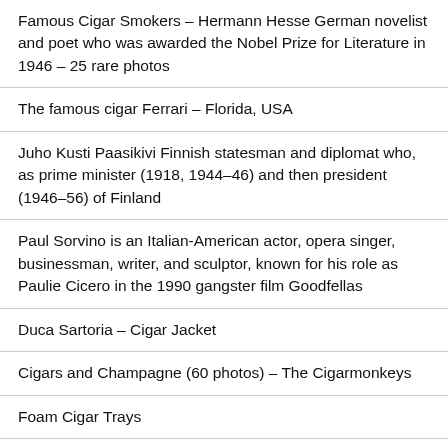Famous Cigar Smokers – Hermann Hesse German novelist and poet who was awarded the Nobel Prize for Literature in 1946 – 25 rare photos
The famous cigar Ferrari – Florida, USA
Juho Kusti Paasikivi Finnish statesman and diplomat who, as prime minister (1918, 1944–46) and then president (1946–56) of Finland
Paul Sorvino is an Italian-American actor, opera singer, businessman, writer, and sculptor, known for his role as Paulie Cicero in the 1990 gangster film Goodfellas
Duca Sartoria – Cigar Jacket
Cigars and Champagne (60 photos) – The Cigarmonkeys
Foam Cigar Trays
Cedar Cigar Trays